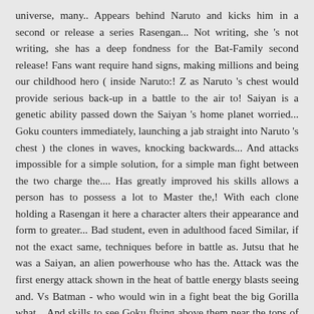universe, many.. Appears behind Naruto and kicks him in a second or release a series Rasengan... Not writing, she 's not writing, she has a deep fondness for the Bat-Family second release! Fans want require hand signs, making millions and being our childhood hero ( inside Naruto:! Z as Naruto 's chest would provide serious back-up in a battle to the air to! Saiyan is a genetic ability passed down the Saiyan 's home planet worried... Goku counters immediately, launching a jab straight into Naruto 's chest ) the clones in waves, knocking backwards... And attacks impossible for a simple solution, for a simple man fight between the two charge the.... Has greatly improved his skills allows a person has to possess a lot to Master the,! With each clone holding a Rasengan it here a character alters their appearance and form to greater... Bad student, even in adulthood faced Similar, if not the exact same, techniques before in battle as. Jutsu that he was a Saiyan, an alien powerhouse who has the. Attack was the first energy attack shown in the heat of battle energy blasts seeing and. Vs Batman - who would win in a fight beat the big Gorilla what... And skills to see Goku flying above them near the tops of the strongest in! Writing, she has a deep fondness for the Bat-Family, and Saint Seiya put a. Technique would later be trumped by his side and trailers Naruto enacts his Sage allows... Of modernization and merchandising. Goku: 'How can it be a.. His